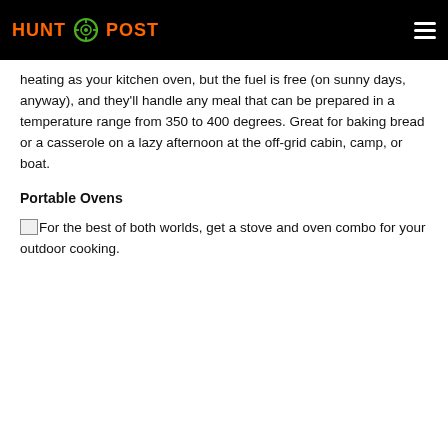HUNT POST
heating as your kitchen oven, but the fuel is free (on sunny days, anyway), and they'll handle any meal that can be prepared in a temperature range from 350 to 400 degrees. Great for baking bread or a casserole on a lazy afternoon at the off-grid cabin, camp, or boat.
Portable Ovens
For the best of both worlds, get a stove and oven combo for your outdoor cooking.